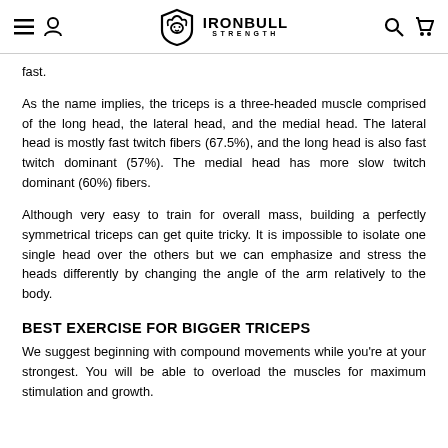IRONBULL STRENGTH — navigation header
fast.
As the name implies, the triceps is a three-headed muscle comprised of the long head, the lateral head, and the medial head. The lateral head is mostly fast twitch fibers (67.5%), and the long head is also fast twitch dominant (57%). The medial head has more slow twitch dominant (60%) fibers.
Although very easy to train for overall mass, building a perfectly symmetrical triceps can get quite tricky. It is impossible to isolate one single head over the others but we can emphasize and stress the heads differently by changing the angle of the arm relatively to the body.
BEST EXERCISE FOR BIGGER TRICEPS
We suggest beginning with compound movements while you're at your strongest. You will be able to overload the muscles for maximum stimulation and growth.